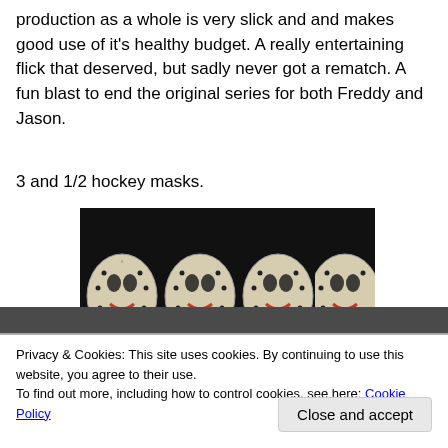production as a whole is very slick and and makes good use of it's healthy budget. A really entertaining flick that deserved, but sadly never got a rematch. A fun blast to end the original series for both Freddy and Jason.
3 and 1/2 hockey masks.
[Figure (photo): Four Jason Voorhees hockey masks side by side on a black background, showing the classic white mask with red markings and black dots.]
Privacy & Cookies: This site uses cookies. By continuing to use this website, you agree to their use.
To find out more, including how to control cookies, see here: Cookie Policy